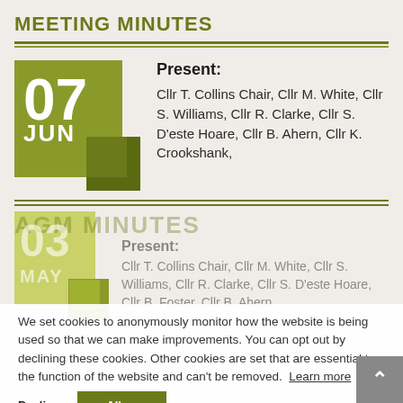MEETING MINUTES
Present: Cllr T. Collins Chair, Cllr M. White, Cllr S. Williams, Cllr R. Clarke, Cllr S. D'este Hoare, Cllr B. Ahern, Cllr K. Crookshank,
AGM MINUTES
We set cookies to anonymously monitor how the website is being used so that we can make improvements. You can opt out by declining these cookies. Other cookies are set that are essential to the function of the website and can't be removed. Learn more
Present: Cllr T. Collins Chair, Cllr M. White, Cllr S. Williams, Cllr R. Clarke, Cllr S. D'este Hoare, Cllr B. Foster, Cllr B. Ahern